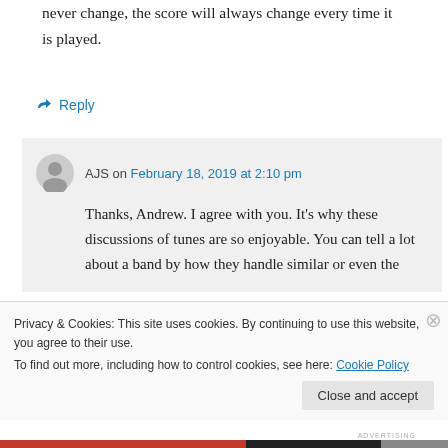never change, the score will always change every time it is played.
↪ Reply
AJS on February 18, 2019 at 2:10 pm
Thanks, Andrew. I agree with you. It's why these discussions of tunes are so enjoyable. You can tell a lot about a band by how they handle similar or even the
Privacy & Cookies: This site uses cookies. By continuing to use this website, you agree to their use.
To find out more, including how to control cookies, see here: Cookie Policy
Close and accept